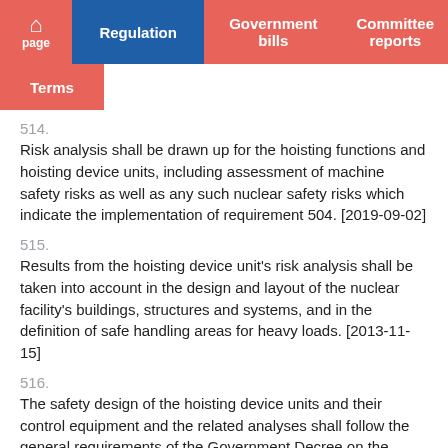home page | Regulation | Government bills | Committee reports | Terms
514.
Risk analysis shall be drawn up for the hoisting functions and hoisting device units, including assessment of machine safety risks as well as any such nuclear safety risks which indicate the implementation of requirement 504. [2019-09-02]
515.
Results from the hoisting device unit's risk analysis shall be taken into account in the design and layout of the nuclear facility's buildings, structures and systems, and in the definition of safe handling areas for heavy loads. [2013-11-15]
516.
The safety design of the hoisting device units and their control equipment and the related analyses shall follow the general requirements of the Government Decree on the Safety of Machinery (400/2008) [4] and related safety standards. [2019-09-02]